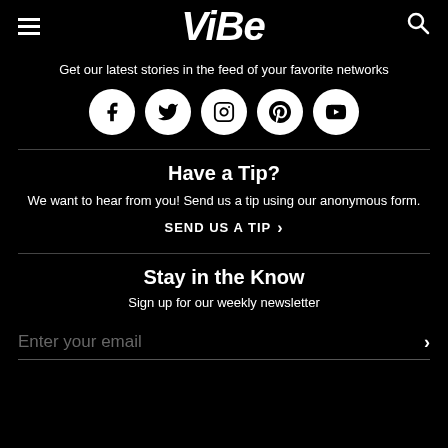VIBE
Get our latest stories in the feed of your favorite networks
[Figure (infographic): Five social media icons in white circles: Facebook, Twitter, Instagram, Pinterest, YouTube]
Have a Tip?
We want to hear from you! Send us a tip using our anonymous form.
SEND US A TIP >
Stay in the Know
Sign up for our weekly newsletter
Enter your email